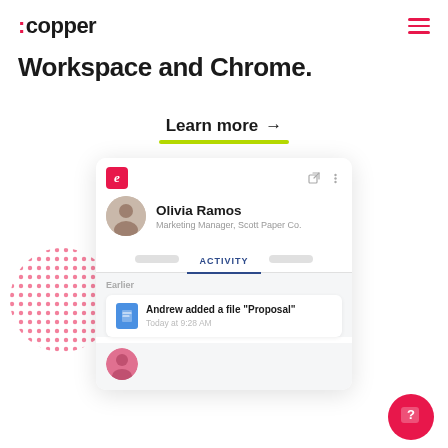:copper
Workspace and Chrome.
Learn more →
[Figure (screenshot): Copper CRM app screenshot showing a contact card for Olivia Ramos, Marketing Manager at Scott Paper Co., with an ACTIVITY tab selected, showing an activity item: Andrew added a file 'Proposal' Today at 9:28 AM, and a bottom avatar row with a female profile photo. A pink dot pattern decorates the left side background.]